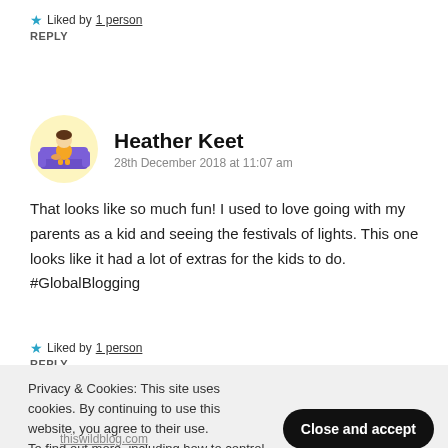★ Liked by 1 person
REPLY
Heather Keet
28th December 2018 at 11:07 am
That looks like so much fun! I used to love going with my parents as a kid and seeing the festivals of lights. This one looks like it had a lot of extras for the kids to do. #GlobalBlogging
★ Liked by 1 person
REPLY
Privacy & Cookies: This site uses cookies. By continuing to use this website, you agree to their use.
To find out more, including how to control cookies, see here: Cookie Policy
Close and accept